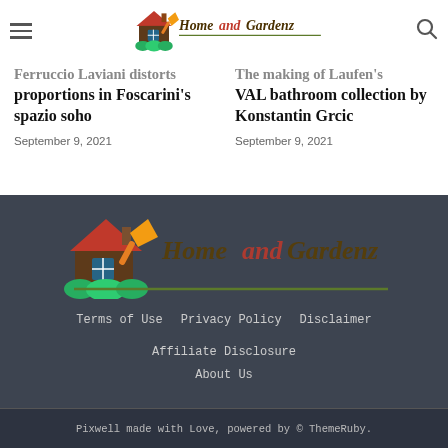Home and Gardenz (logo/nav bar)
Ferruccio Laviani distorts proportions in Foscarini's spazio soho
September 9, 2021
The making of Laufen's VAL bathroom collection by Konstantin Grcic
September 9, 2021
[Figure (logo): Home and Gardenz footer logo with house, trowel, and green bushes]
Terms of Use   Privacy Policy   Disclaimer   Affiliate Disclosure   About Us
Pixwell made with Love, powered by © ThemeRuby.